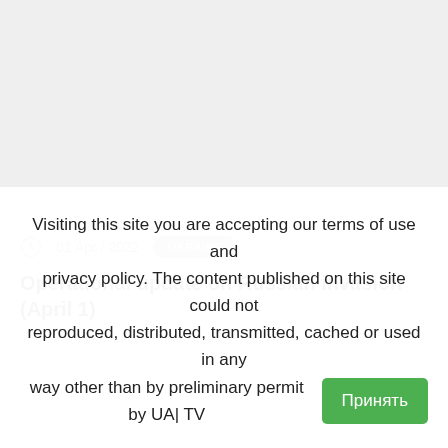[Figure (photo): Top image area, light grey placeholder]
01 Apr / 2022   UKRAINE
Operational update on Russian invasion (April 1)
The thirty-seven th day of the heroic resistance of the Ukrainian...
Visiting this site you are accepting our terms of use and privacy policy. The content published on this site could not reproduced, distributed, transmitted, cached or used in any way other than by preliminary permit by UA|TV  Принять